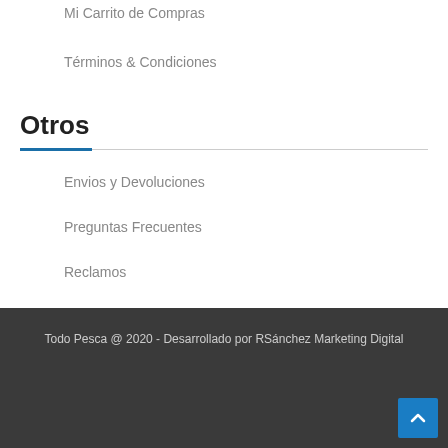Mi Carrito de Compras
Términos & Condiciones
Otros
Envios y Devoluciones
Preguntas Frecuentes
Reclamos
Todo Pesca @ 2020 - Desarrollado por RSánchez Marketing Digital